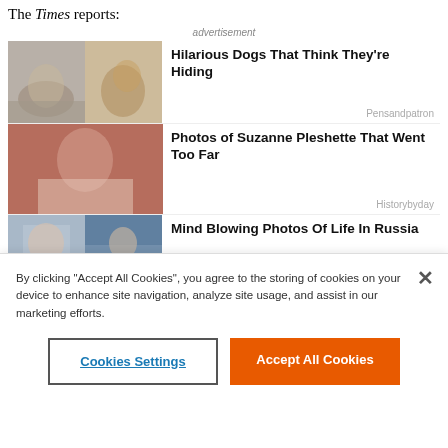The Times reports:
advertisement
[Figure (photo): Two dogs appearing to hide - one under furniture, one peeking around a door]
Hilarious Dogs That Think They're Hiding
Pensandpatron
[Figure (photo): Suzanne Pleshette portrait photo]
Photos of Suzanne Pleshette That Went Too Far
Historybyday
[Figure (photo): Two photos of life in Russia - a man and a woman in uniform]
Mind Blowing Photos Of Life In Russia
Noteabley
[Figure (photo): Two photos of a woman from the JAG TV show]
Remember Mac From JAG? This Is Her Now
By clicking "Accept All Cookies", you agree to the storing of cookies on your device to enhance site navigation, analyze site usage, and assist in our marketing efforts.
Cookies Settings
Accept All Cookies